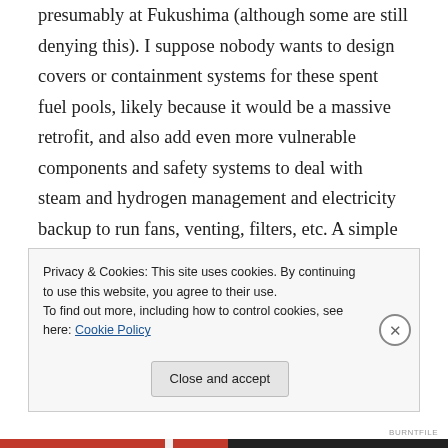presumably at Fukushima (although some are still denying this). I suppose nobody wants to design covers or containment systems for these spent fuel pools, likely because it would be a massive retrofit, and also add even more vulnerable components and safety systems to deal with steam and hydrogen management and electricity backup to run fans, venting, filters, etc. A simple improvement, to my mind, would be to provide battery backup for standby gas treatment system (to vent gas from secondary
Privacy & Cookies: This site uses cookies. By continuing to use this website, you agree to their use.
To find out more, including how to control cookies, see here: Cookie Policy
Close and accept